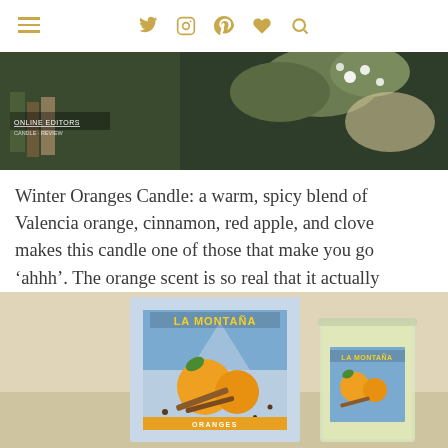Navigation bar with hamburger menu and social icons (Twitter, Instagram, Pinterest, heart, search) in gold/yellow color
[Figure (photo): Partial top image showing green plants and white flowers on dark background with 'ONLINE EDITORS' text overlay]
Winter Oranges Candle: a warm, spicy blend of Valencia orange, cinnamon, red apple, and clove makes this candle one of those that make you go ‘ahhh’. The orange scent is so real that it actually makes my mouth water and mixed with the lovely spices it becomes relaxing and moreish.
[Figure (photo): Photo of La Montaña Winter Oranges candle product showing box packaging and glass candle jar, both featuring label with oranges, cinnamon sticks and cloves on blue/orange illustrated background]